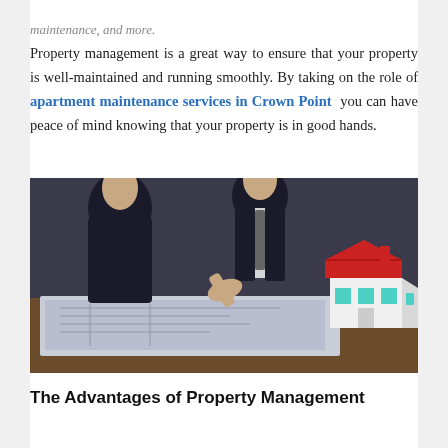maintenance, and more. Property management is a great way to ensure that your property is well-maintained and running smoothly. By taking on the role of apartment maintenance services in Crown Point you can have peace of mind knowing that your property is in good hands.
[Figure (photo): Two professionals in dark suits sitting at a table covered with architectural blueprints, with a small model house (white walls, red roof, teal windows) on the right side of the table. The person on the right is gesturing with one hand.]
The Advantages of Property Management